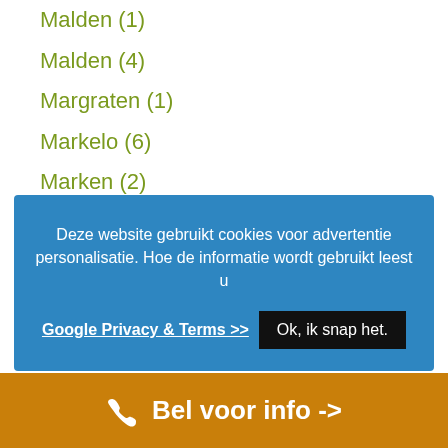Malden (1)
Malden (4)
Margraten (1)
Markelo (6)
Marken (2)
Marknesse (2)
Deze website gebruikt cookies voor advertentie personalisatie. Hoe de informatie wordt gebruikt leest u Google Privacy & Terms >>  Ok, ik snap het.
Medemblik (7)
Meerkerk (3)
Meerssen (3)
Menaldumadeel (1)
Bel voor info ->